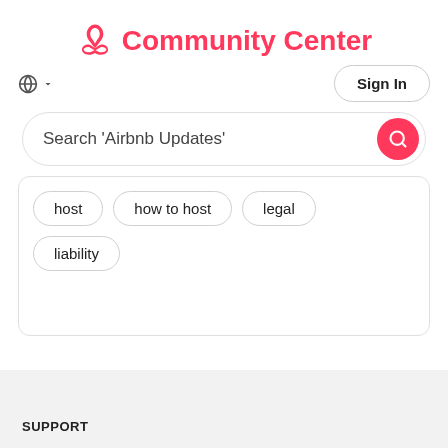Community Center
Sign In
Search 'Airbnb Updates'
host
how to host
legal
liability
SUPPORT